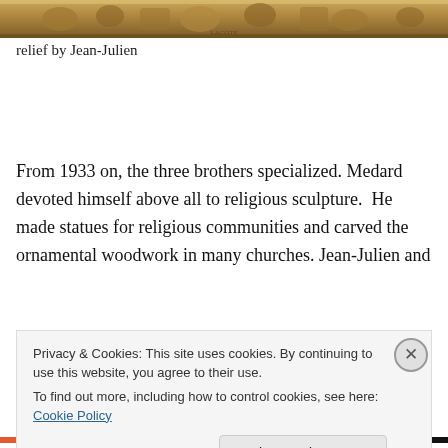[Figure (photo): Carved wooden relief artwork, showing ornamental figures, golden/brown tones, partially visible at top of page.]
relief by Jean-Julien
From 1933 on, the three brothers specialized. Medard devoted himself above all to religious sculpture.  He made statues for religious communities and carved the ornamental woodwork in many churches. Jean-Julien and André continue for their part to portray the rural peasant
Privacy & Cookies: This site uses cookies. By continuing to use this website, you agree to their use.
To find out more, including how to control cookies, see here: Cookie Policy
Close and accept